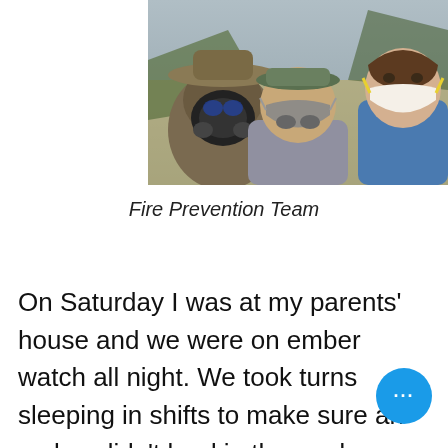[Figure (photo): Three people wearing respirator masks and protective gear posing for a selfie outdoors. One person wears a full-face gas mask and wide brim hat, one wears a cap with a half-face respirator in a gray shirt, and one wears a white N95 mask in a blue tank top.]
Fire Prevention Team
On Saturday I was at my parents' house and we were on ember watch all night. We took turns sleeping in shifts to make sure an ember didn't land in the yard.